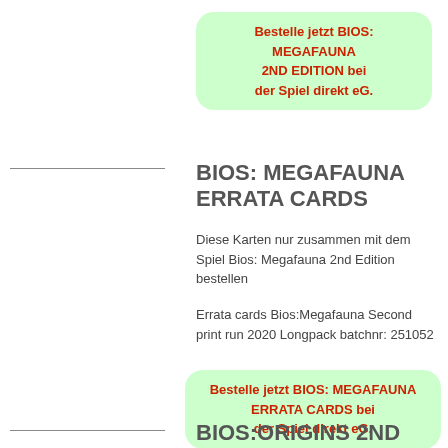Bestelle jetzt BIOS: MEGAFAUNA 2ND EDITION bei der Spiel direkt eG.
BIOS: MEGAFAUNA ERRATA CARDS
Diese Karten nur zusammen mit dem Spiel Bios: Megafauna 2nd Edition bestellen
Errata cards Bios:Megafauna Second print run 2020 Longpack batchnr: 251052
Bestelle jetzt BIOS: MEGAFAUNA ERRATA CARDS bei der Spiel direkt eG.
BIOS:ORIGINS 2ND EDITION